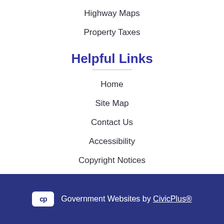Highway Maps
Property Taxes
Helpful Links
Home
Site Map
Contact Us
Accessibility
Copyright Notices
Privacy Policy
Government Websites by CivicPlus®